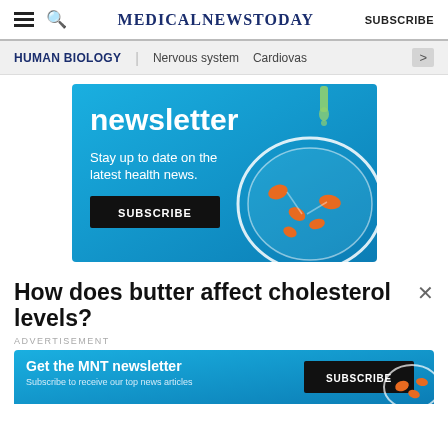MedicalNewsToday  SUBSCRIBE
HUMAN BIOLOGY | Nervous system | Cardiovas >
[Figure (illustration): Newsletter promotional banner with blue background, petri dish illustration, text 'newsletter', 'Stay up to date on the latest health news.', and black SUBSCRIBE button]
How does butter affect cholesterol levels?
ADVERTISEMENT
[Figure (illustration): MNT newsletter ad banner: 'Get the MNT newsletter – Subscribe to receive our top news articles' with black SUBSCRIBE button and petri dish illustration]